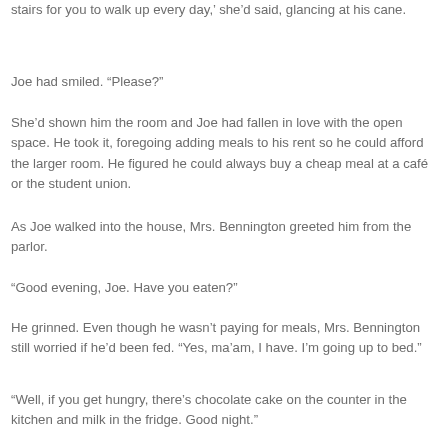stairs for you to walk up every day,’ she’d said, glancing at his cane.
Joe had smiled. “Please?”
She’d shown him the room and Joe had fallen in love with the open space. He took it, foregoing adding meals to his rent so he could afford the larger room. He figured he could always buy a cheap meal at a café or the student union.
As Joe walked into the house, Mrs. Bennington greeted him from the parlor.
“Good evening, Joe. Have you eaten?”
He grinned. Even though he wasn’t paying for meals, Mrs. Bennington still worried if he’d been fed. “Yes, ma’am, I have. I’m going up to bed.”
“Well, if you get hungry, there’s chocolate cake on the counter in the kitchen and milk in the fridge. Good night.”